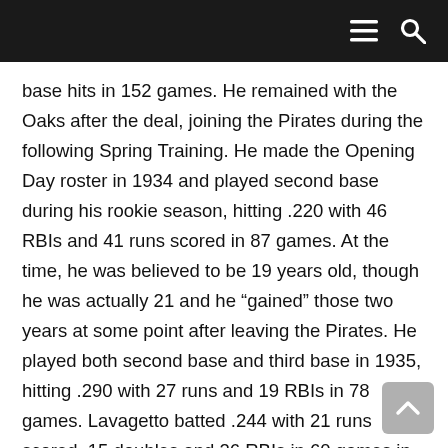base hits in 152 games. He remained with the Oaks after the deal, joining the Pirates during the following Spring Training. He made the Opening Day roster in 1934 and played second base during his rookie season, hitting .220 with 46 RBIs and 41 runs scored in 87 games. At the time, he was believed to be 19 years old, though he was actually 21 and he “gained” those two years at some point after leaving the Pirates. He played both second base and third base in 1935, hitting .290 with 27 runs and 19 RBIs in 78 games. Lavagetto batted .244 with 21 runs scored, 15 doubles and 26 RBIs in 60 games in 1936, seeing very little time over the final three months of the season. He made just two starts in the final 88 games. Following the season, the Pirates traded him (and Ralph Birkofer) to the